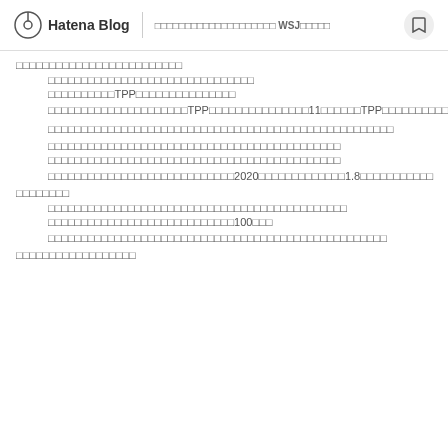Hatena Blog | □□□□□□□□□□□□□□□□□□□□ WSJ□□□□□
□□□□□□□□□□□□□□□□□□□□□□□□□
□□□□□□□□□□□□□□□□□□□□□□□□□□□□□□□
□□□□□□□□□□TPP□□□□□□□□□□□□□□□
□□□□□□□□□□□□□□□□□□□□□TPP□□□□□□□□□□□□□□□11□□□□□□TPP□□□□□□□□□□□□
□□□□□□□□□□□□□□□□□□□□□□□□□□□□□□□□□□□□□□□□□□□□□□□□□□□□
□□□□□□□□□□□□□□□□□□□□□□□□□□□□□□□□□□□□□□□□□□□□
□□□□□□□□□□□□□□□□□□□□□□□□□□□□□□□□□□□□□□□□□□□□
□□□□□□□□□□□□□□□□□□□□□□□□□□□□2020□□□□□□□□□□□□□1.8□□□□□□□□□□□
□□□□□□□□
□□□□□□□□□□□□□□□□□□□□□□□□□□□□□□□□□□□□□□□□□□□□□
□□□□□□□□□□□□□□□□□□□□□□□□□□□□100□□□
□□□□□□□□□□□□□□□□□□□□□□□□□□□□□□□□□□□□□□□□□□□□□□□□□□□
□□□□□□□□□□□□□□□□□□